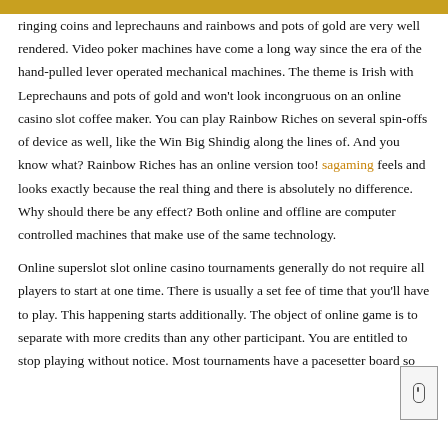ringing coins and leprechauns and rainbows and pots of gold are very well rendered. Video poker machines have come a long way since the era of the hand-pulled lever operated mechanical machines. The theme is Irish with Leprechauns and pots of gold and won't look incongruous on an online casino slot coffee maker. You can play Rainbow Riches on several spin-offs of device as well, like the Win Big Shindig along the lines of. And you know what? Rainbow Riches has an online version too! sagaming feels and looks exactly because the real thing and there is absolutely no difference. Why should there be any effect? Both online and offline are computer controlled machines that make use of the same technology.
Online superslot slot online casino tournaments generally do not require all players to start at one time. There is usually a set fee of time that you'll have to play. This happening starts additionally. The object of online game is to separate with more credits than any other participant. You are entitled to stop playing without notice. Most tournaments have a pacesetter board so